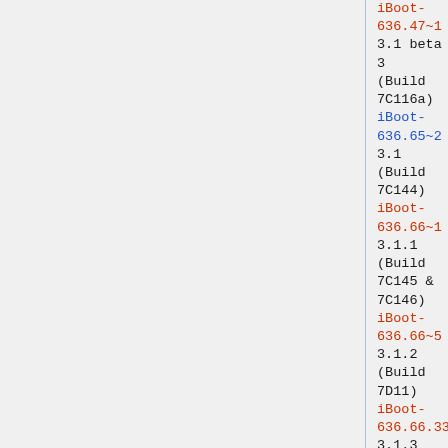iBoot-636.47~1 (partial, cut off at top)
3.1 beta 3
(Build 7C116a)
iBoot-636.65~2
3.1
(Build 7C144)
iBoot-636.66~1
3.1.1
(Build 7C145 & 7C146)
iBoot-636.66~5
3.1.2
(Build 7D11)
iBoot-636.66.33~4
3.1.3
(Build 7E18)
iBoot-817.28~18
3.2
(Build 7B367)
iBoot-817.29~2
3.2.1
(Build 7B405)
3.2.2
(Build 7B500)
iBoot-770 (partial)